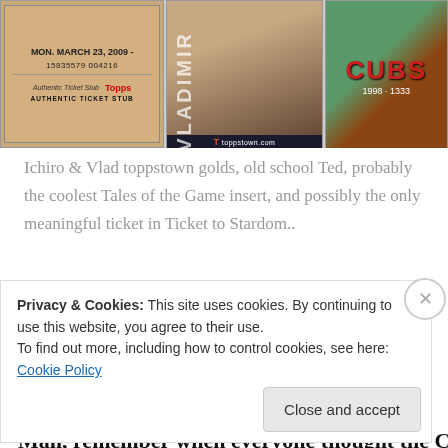[Figure (photo): Three trading card/ticket images: an authentic Topps ticket stub dated Mon. March 23, 2009 with number 15835579 004216; a Vladimir (Vlad) Toppstown gold card; and a Cubs baseball card with player on green/dirt background]
Ichiro & Vlad toppstown golds, old school Ted, probably the coolest Tales of the Game insert, and possibly the only meaningful ticket in Ticket to Stardom..
Advertisements
[Figure (infographic): Advertisement banner: dark background with white circle icon (tree/person silhouette), teal text 'Launch your online course with WordPress', white underlined 'Learn More' button]
Man, remember when everyone thought the Cubs horribly
Privacy & Cookies: This site uses cookies. By continuing to use this website, you agree to their use.
To find out more, including how to control cookies, see here: Cookie Policy
Close and accept